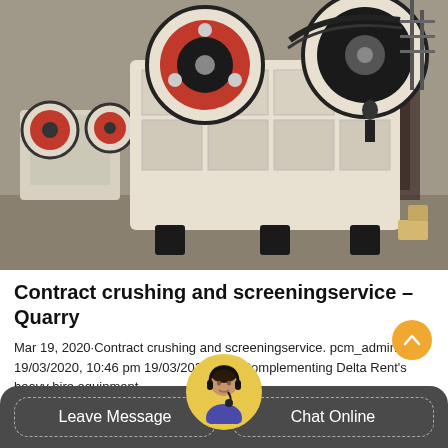[Figure (photo): Industrial jaw crusher machines in a factory/warehouse setting. Large white and red/black heavy machinery (jaw crushers) on a concrete floor, multiple units visible.]
Contract crushing and screeningservice – Quarry
Mar 19, 2020·Contract crushing and screeningservice. pcm_admin 19/03/2020, 10:46 pm 19/03/2020 489. Complementing Delta Rent's heavy hire equipment, ...